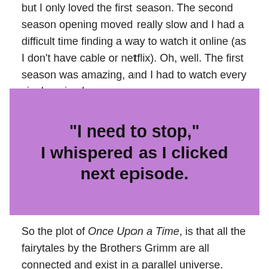but I only loved the first season. The second season opening moved really slow and I had a difficult time finding a way to watch it online (as I don't have cable or netflix). Oh, well. The first season was amazing, and I had to watch every single episode asap.
[Figure (other): Purple background quote image with bold black text reading: "I need to stop," I whispered as I clicked next episode.]
So the plot of Once Upon a Time, is that all the fairytales by the Brothers Grimm are all connected and exist in a parallel universe. Snow White (Ginnifer Goodwin) and